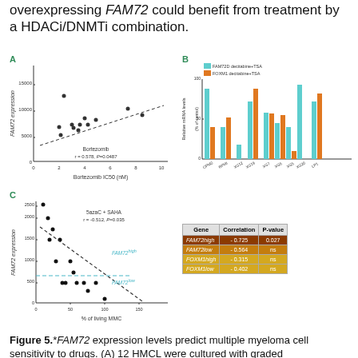overexpressing FAM72 could benefit from treatment by a HDACi/DNMTi combination.
[Figure (scatter-plot): Bortezomib r = 0.578, P=0.0487]
[Figure (grouped-bar-chart): ]
[Figure (scatter-plot): 5azaC + SAHA r = -0.512, P=0.035]
| Gene | Correlation | P-value |
| --- | --- | --- |
| FAM72high | -0.725 | 0.027 |
| FAM72low | -0.564 | ns |
| FOXM1high | -0.315 | ns |
| FOXM1low | -0.402 | ns |
Figure 5.*FAM72 expression levels predict multiple myeloma cell sensitivity to drugs. (A) 12 HMCL were cultured with graded concentrations of Bortezomib